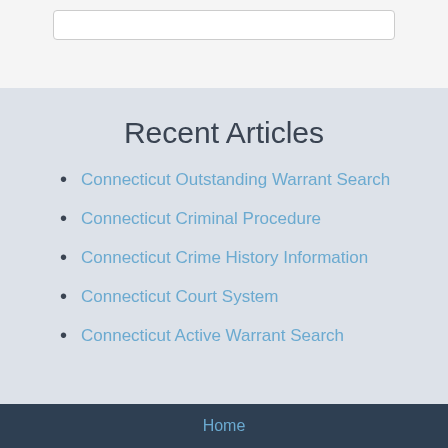Recent Articles
Connecticut Outstanding Warrant Search
Connecticut Criminal Procedure
Connecticut Crime History Information
Connecticut Court System
Connecticut Active Warrant Search
Home